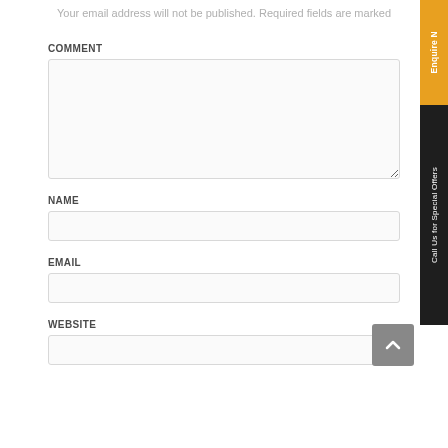Your email address will not be published. Required fields are marked
COMMENT
[Figure (other): Comment textarea input field]
NAME
[Figure (other): Name text input field]
EMAIL
[Figure (other): Email text input field]
WEBSITE
[Figure (other): Website text input field (partially visible)]